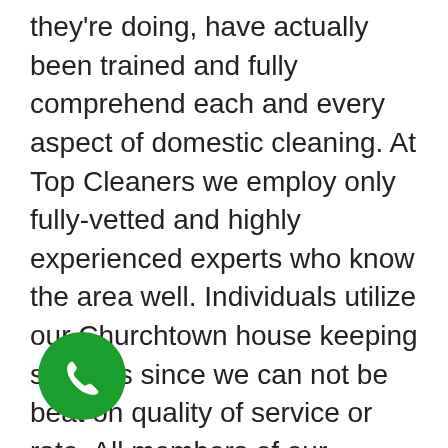they're doing, have actually been trained and fully comprehend each and every aspect of domestic cleaning. At Top Cleaners we employ only fully-vetted and highly experienced experts who know the area well. Individuals utilize our Churchtown house keeping services since we can not be beat on quality of service or rate. All members of our cleaning team get along and educated so they can help you with recommendations and valuable pointers on ways to keep your home clean for a longer amount of time. Call 01 503 9877 and you'll get genuinely professional assistance! For house cleaning in Dublin check Top Cleaners main p
[Figure (other): Green circular phone call button icon overlaid on bottom-left of page]